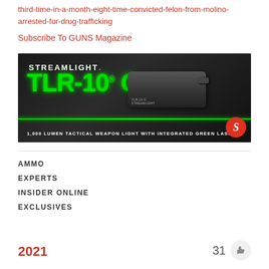third-time-in-a-month-eight-time-convicted-felon-from-molino-arrested-for-drug-trafficking
Subscribe To GUNS Magazine
[Figure (illustration): Streamlight TLR-10 G advertisement banner. Dark background with green glowing text 'TLR-10 G', white brand name 'STREAMLIGHT.' at top left, product image of tactical weapon light on right, orange logo badge bottom right, tagline '1,000 LUMEN TACTICAL WEAPON LIGHT WITH INTEGRATED GREEN LASER' at bottom.]
AMMO
EXPERTS
INSIDER ONLINE
EXCLUSIVES
2021
31